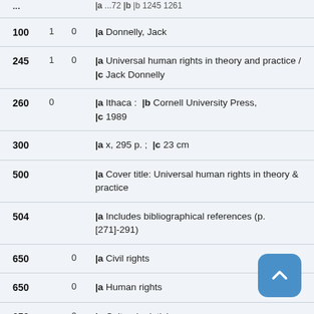| Field | Ind1 | Ind2 | Content |
| --- | --- | --- | --- |
| 100 | 1 | 0 | |a Donnelly, Jack |
| 245 | 1 | 0 | |a Universal human rights in theory and practice /  |c Jack Donnelly |
| 260 | 0 |  | |a Ithaca :  |b Cornell University Press,  |c 1989 |
| 300 |  |  | |a x, 295 p. ;  |c 23 cm |
| 500 |  |  | |a Cover title: Universal human rights in theory & practice |
| 504 |  |  | |a Includes bibliographical references (p. [271]-291) |
| 650 |  | 0 | |a Civil rights |
| 650 |  | 0 | |a Human rights |
| 650 |  | 0 | |a Cultural relativism |
| 907 |  |  | |a b1143451 |